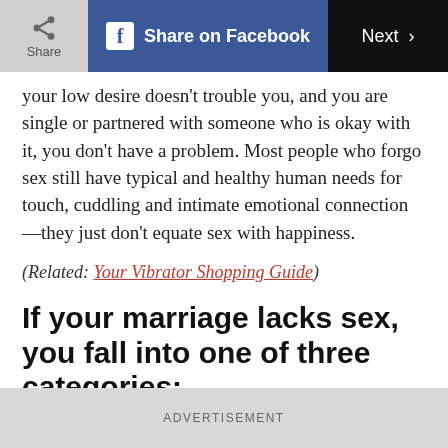Share | Share on Facebook | Next >
your low desire doesn't trouble you, and you are single or partnered with someone who is okay with it, you don't have a problem. Most people who forgo sex still have typical and healthy human needs for touch, cuddling and intimate emotional connection—they just don't equate sex with happiness.
(Related: Your Vibrator Shopping Guide)
If your marriage lacks sex, you fall into one of three categories:
ADVERTISEMENT